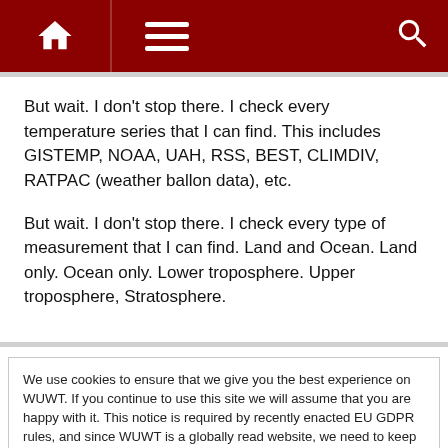Navigation bar with home icon, menu icon, and search icon
But wait. I don’t stop there. I check every temperature series that I can find. This includes GISTEMP, NOAA, UAH, RSS, BEST, CLIMDIV, RATPAC (weather ballon data), etc.
But wait. I don’t stop there. I check every type of measurement that I can find. Land and Ocean. Land only. Ocean only. Lower troposphere. Upper troposphere, Stratosphere.
We use cookies to ensure that we give you the best experience on WUWT. If you continue to use this site we will assume that you are happy with it. This notice is required by recently enacted EU GDPR rules, and since WUWT is a globally read website, we need to keep the bureaucrats off our case! Cookie Policy
Equator. Equator to 14S. 14S to 30S. 30S to 48S. 48S to